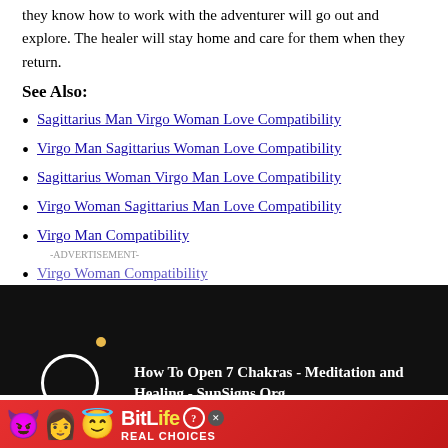they know how to work with the adventurer will go out and explore. The healer will stay home and care for them when they return.
See Also:
Sagittarius Man Virgo Woman Love Compatibility
Virgo Man Sagittarius Woman Love Compatibility
Sagittarius Woman Virgo Man Love Compatibility
Virgo Woman Sagittarius Man Love Compatibility
Virgo Man Compatibility
Virgo Woman Compatibility
[Figure (screenshot): Video overlay with dark background showing 'How To Open 7 Chakras - Meditation and Healing - SunSigns.Org' with a close button and circular video thumbnail]
Sagittarius Taurus
Sag...
Sag...
[Figure (screenshot): BitLife Real Choices advertisement banner with emoji characters on red background]